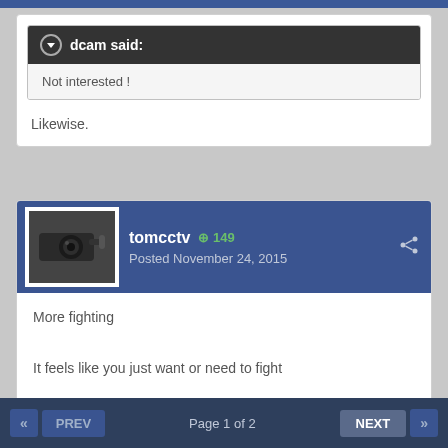dcam said: Not interested !
Likewise.
tomcctv +149 Posted November 24, 2015
More fighting
It feels like you just want or need to fight
Getting childish now
PREV « Page 1 of 2 NEXT »